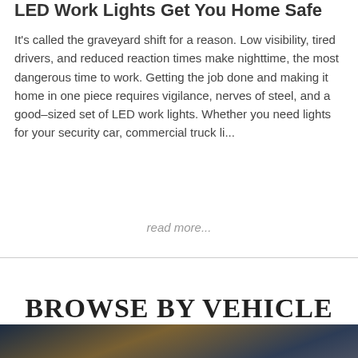LED Work Lights Get You Home Safe
It's called the graveyard shift for a reason. Low visibility, tired drivers, and reduced reaction times make nighttime, the most dangerous time to work. Getting the job done and making it home in one piece requires vigilance, nerves of steel, and a good-sized set of LED work lights. Whether you need lights for your security car, commercial truck li...
read more...
BROWSE BY VEHICLE
[Figure (photo): Dark atmospheric vehicle photo at the bottom of the page]